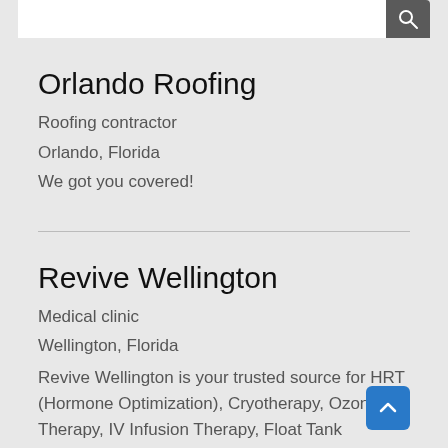Orlando Roofing
Roofing contractor
Orlando, Florida
We got you covered!
Revive Wellington
Medical clinic
Wellington, Florida
Revive Wellington is your trusted source for HRT (Hormone Optimization), Cryotherapy, Ozone Therapy, IV Infusion Therapy, Float Tank Therapy, Botox, and much more.